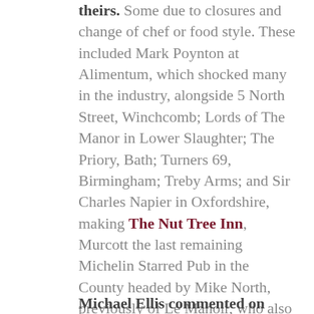theirs. Some due to closures and change of chef or food style. These included Mark Poynton at Alimentum, which shocked many in the industry, alongside 5 North Street, Winchcomb; Lords of The Manor in Lower Slaughter; The Priory, Bath; Turners 69, Birmingham; Treby Arms; and Sir Charles Napier in Oxfordshire, making The Nut Tree Inn, Murcott the last remaining Michelin Starred Pub in the County headed by Mike North, previously of Le Manoir, who also retained their two Stars.
Michael Ellis commented on